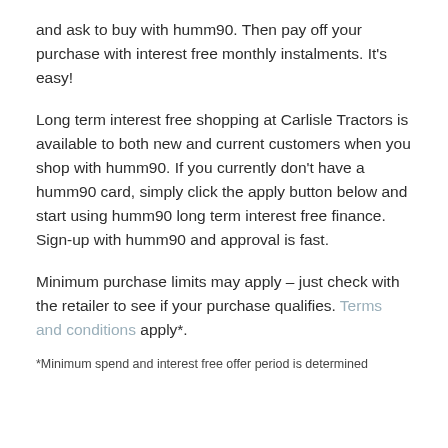and ask to buy with humm90. Then pay off your purchase with interest free monthly instalments. It's easy!
Long term interest free shopping at Carlisle Tractors is available to both new and current customers when you shop with humm90. If you currently don't have a humm90 card, simply click the apply button below and start using humm90 long term interest free finance. Sign-up with humm90 and approval is fast.
Minimum purchase limits may apply – just check with the retailer to see if your purchase qualifies. Terms and conditions apply*.
*Minimum spend and interest free offer period is determined